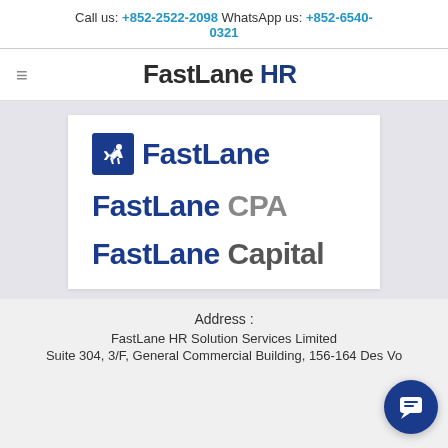Call us: +852-2522-2098 WhatsApp us: +852-6540-0321
FastLane HR
[Figure (logo): FastLane group logo panel showing three logos: FastLane (main, with running figure icon in blue box), FastLane CPA (blue+grey), FastLane Capital (blue+dark grey)]
Address :
FastLane HR Solution Services Limited
Suite 304, 3/F, General Commercial Building, 156-164 Des Vo…